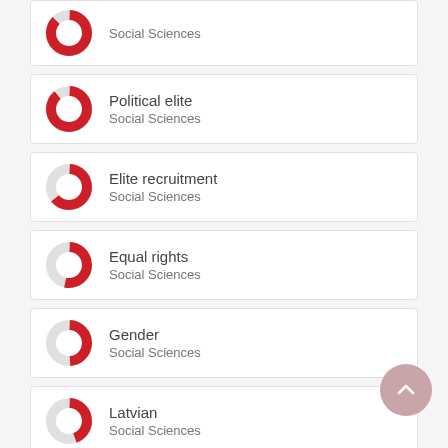Social Sciences (partial card at top)
Political elite — Social Sciences
Elite recruitment — Social Sciences
Equal rights — Social Sciences
Gender — Social Sciences
Latvian — Social Sciences
Discrimination against women — Social Sciences